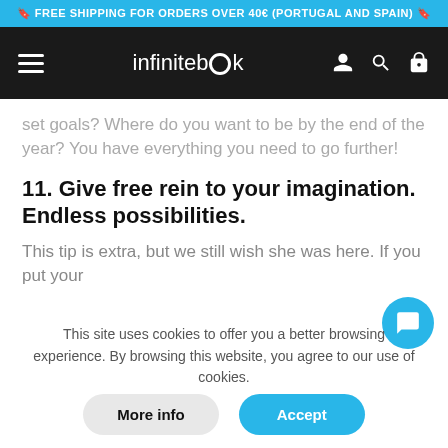🔖 FREE SHIPPING FOR ORDERS OVER 40€ (PORTUGAL AND SPAIN) 🔖
[Figure (screenshot): Navigation bar with hamburger menu, infinitebook logo, user/search/cart icons on dark background]
set goals? Where do you want to be by the end of the year? You have everything you need to go further!
11. Give free rein to your imagination. Endless possibilities.
This tip is extra, but we still wish she was here. If you put your
This site uses cookies to offer you a better browsing experience. By browsing this website, you agree to our use of cookies.